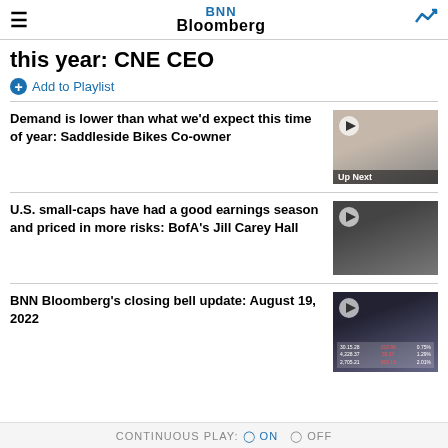BNN Bloomberg
this year: CNE CEO
Add to Playlist
Demand is lower than what we'd expect this time of year: Saddleside Bikes Co-owner
[Figure (screenshot): Video thumbnail showing a young man, labeled 'Up Next']
U.S. small-caps have had a good earnings season and priced in more risks: BofA's Jill Carey Hall
[Figure (screenshot): Video thumbnail showing a woman in front of BofA Securities backdrop]
BNN Bloomberg's closing bell update: August 19, 2022
[Figure (screenshot): Video thumbnail showing BNN Bloomberg closing bell market data screen]
CONTINUOUS PLAY: ON  OFF